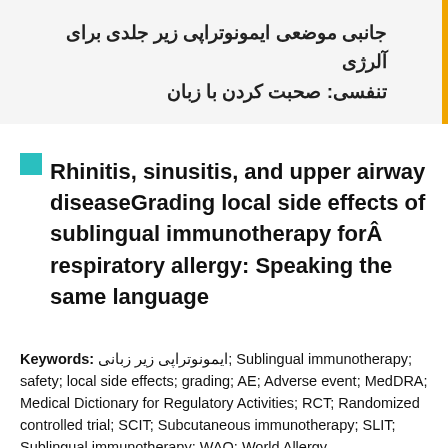جانبی موضعی ایمونوتراپی زیر جلدی برای آلرژی تنفسی: صحبت کردن با زبان
Rhinitis, sinusitis, and upper airway diseaseGrading local side effects of sublingual immunotherapy forÂ respiratory allergy: Speaking the same language
Keywords: ایمونوتراپی زیر زبانی; Sublingual immunotherapy; safety; local side effects; grading; AE; Adverse event; MedDRA; Medical Dictionary for Regulatory Activities; RCT; Randomized controlled trial; SCIT; Subcutaneous immunotherapy; SLIT; Sublingual immunotherapy; WAO; World Allergy